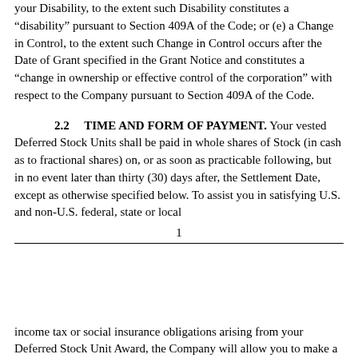your Disability, to the extent such Disability constitutes a “disability” pursuant to Section 409A of the Code; or (e) a Change in Control, to the extent such Change in Control occurs after the Date of Grant specified in the Grant Notice and constitutes a “change in ownership or effective control of the corporation” with respect to the Company pursuant to Section 409A of the Code.
2.2	TIME AND FORM OF PAYMENT.
Your vested Deferred Stock Units shall be paid in whole shares of Stock (in cash as to fractional shares) on, or as soon as practicable following, but in no event later than thirty (30) days after, the Settlement Date, except as otherwise specified below. To assist you in satisfying U.S. and non-U.S. federal, state or local
1
income tax or social insurance obligations arising from your Deferred Stock Unit Award, the Company will allow you to make a